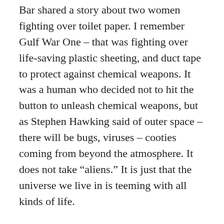Bar shared a story about two women fighting over toilet paper. I remember Gulf War One – that was fighting over life-saving plastic sheeting, and duct tape to protect against chemical weapons. It was a human who decided not to hit the button to unleash chemical weapons, but as Stephen Hawking said of outer space – there will be bugs, viruses – cooties coming from beyond the atmosphere. It does not take “aliens.” It is just that the universe we live in is teeming with all kinds of life.
I wonder – can they say this virus is “new?” Is it “old?” Did global warming unleash it from the earth, a plague from eons ago that mankind and womankind lost from history and herstory? Did it arrive recently?
It was chilling to hear Dr Gupta say – was it him? It is all running together for TMI – but he said in his